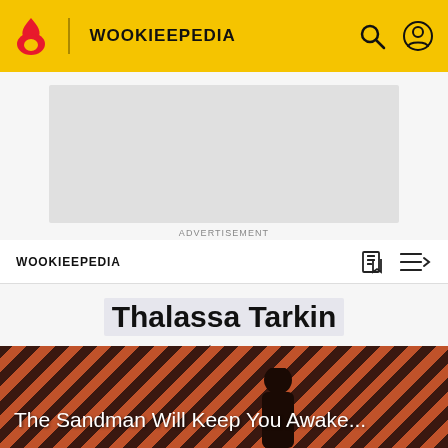WOOKIEEPEDIA
[Figure (screenshot): Advertisement placeholder — grey rectangle]
ADVERTISEMENT
WOOKIEEPEDIA
Thalassa Tarkin
✏ EDIT
[Figure (illustration): Promo banner with diagonal red/dark stripes and partial figure, text: The Sandman Will Keep You Awake...]